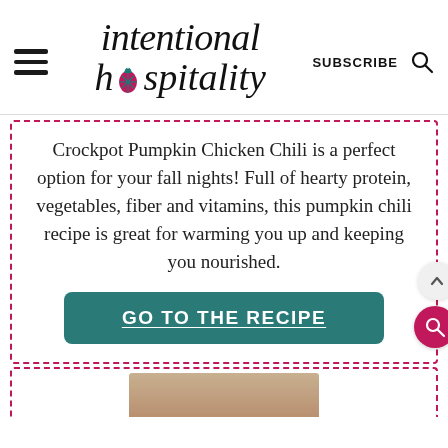intentional hospitality — SUBSCRIBE
Crockpot Pumpkin Chicken Chili is a perfect option for your fall nights! Full of hearty protein, vegetables, fiber and vitamins, this pumpkin chili recipe is great for warming you up and keeping you nourished.
GO TO THE RECIPE
[Figure (photo): Partial view of a photo of food/recipe at the bottom of the page]